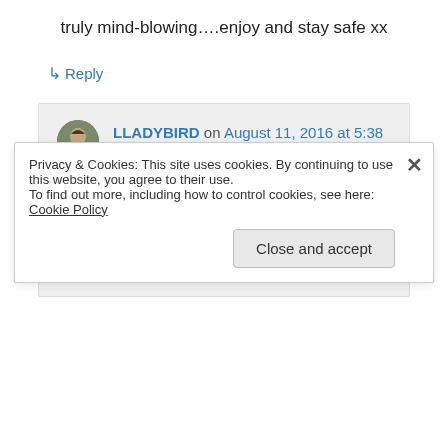truly mind-blowing….enjoy and stay safe xx
↳ Reply
LLADYBIRD on August 11, 2016 at 5:38 pm
That is awesome!! I am super excited to experience it for myself 😀
↳ Reply
Privacy & Cookies: This site uses cookies. By continuing to use this website, you agree to their use.
To find out more, including how to control cookies, see here: Cookie Policy
Close and accept